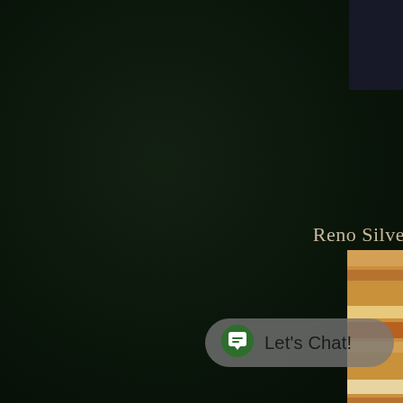[Figure (screenshot): Dark green textured background page with 'Reno Silve' text (partially cropped) in serif cream/tan font at right side, a chat widget button reading 'Let's Chat!' with a green speech bubble icon in the lower portion, a dark navy rectangle in the top-right corner, and a partially visible image of building/architectural elements in the bottom-right corner.]